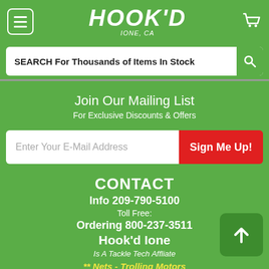HOOK'D IONE, CA
SEARCH For Thousands of Items In Stock
Join Our Mailing List
For Exclusive Discounts & Offers
Enter Your E-Mail Address
Sign Me Up!
CONTACT
Info 209-790-5100
Toll Free:
Ordering 800-237-3511
Hook'd Ione
Is A Tackle Tech Affliate
** Nets - Trolling Motors
DownRiggers - Big Box Items - Rods